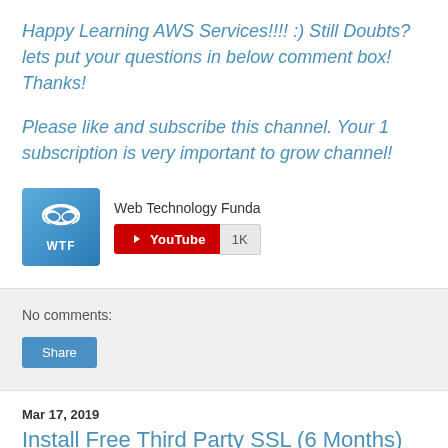Happy Learning AWS Services!!!! :) Still Doubts? lets put your questions in below comment box! Thanks!
Please like and subscribe this channel. Your 1 subscription is very important to grow channel!
[Figure (logo): Web Technology Funda channel logo: blue square with cloud icon and WTF text]
Web Technology Funda
[Figure (other): YouTube subscribe button showing 1K subscribers]
No comments:
Share
Mar 17, 2019
Install Free Third Party SSL (6 Months) On AWS EC2 Linux Server